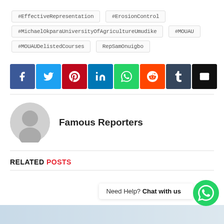#EffectiveRepresentation
#ErosionControl
#MichaelOkparaUniversityOfAgricultureUmudike
#MOUAU
#MOUAUDelistedCourses
RepSamOnuigbo
[Figure (infographic): Social sharing buttons row: Facebook (blue), Twitter (light blue), Pinterest (red), LinkedIn (dark blue), WhatsApp (green), Reddit (orange), Tumblr (dark slate), Email (black)]
Famous Reporters
RELATED POSTS
Need Help? Chat with us